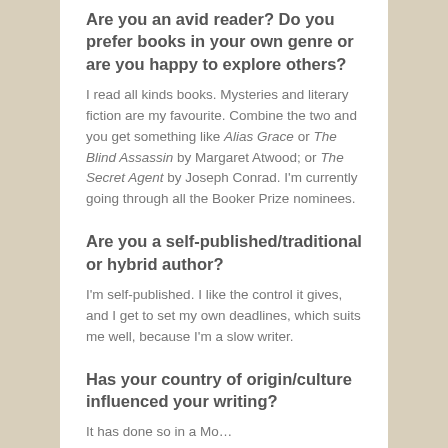Are you an avid reader? Do you prefer books in your own genre or are you happy to explore others?
I read all kinds books. Mysteries and literary fiction are my favourite. Combine the two and you get something like Alias Grace or The Blind Assassin by Margaret Atwood; or The Secret Agent by Joseph Conrad. I'm currently going through all the Booker Prize nominees.
Are you a self-published/traditional or hybrid author?
I'm self-published. I like the control it gives, and I get to set my own deadlines, which suits me well, because I'm a slow writer.
Has your country of origin/culture influenced your writing?